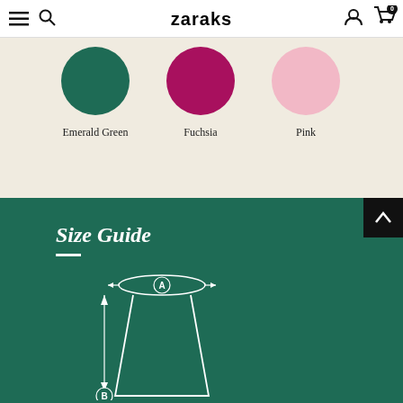zaraks
[Figure (illustration): Three color swatches shown as circles: Emerald Green (dark teal), Fuchsia (magenta), Pink (light pink), each labeled below]
Emerald Green
Fuchsia
Pink
Size Guide
[Figure (schematic): Garment sizing diagram showing a skirt outline with measurement indicators: A (waist circumference at top shown with ellipse and arrows) and B (length shown with vertical arrow on left side)]